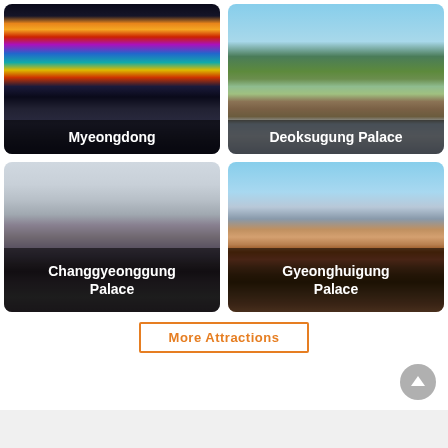[Figure (photo): Myeongdong shopping street with colorful signs and crowds at night]
[Figure (photo): Deoksugung Palace aerial view with traditional buildings and surrounding city]
[Figure (photo): Changgyeonggung Palace traditional Korean gate building in grey tones]
[Figure (photo): Gyeonghuigung Palace traditional Korean gate with red columns under blue sky]
More Attractions